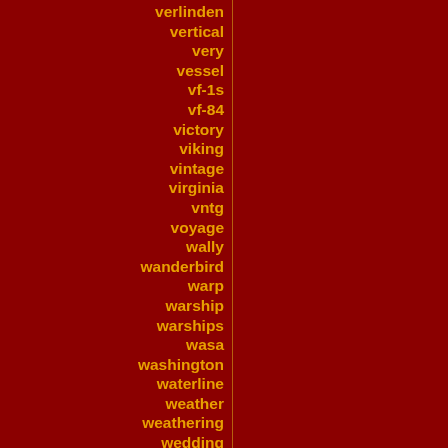verlinden
vertical
very
vessel
vf-1s
vf-84
victory
viking
vintage
virginia
vntg
voyage
wally
wanderbird
warp
warship
warships
wasa
washington
waterline
weather
weathering
wedding
whimsical
wilesco